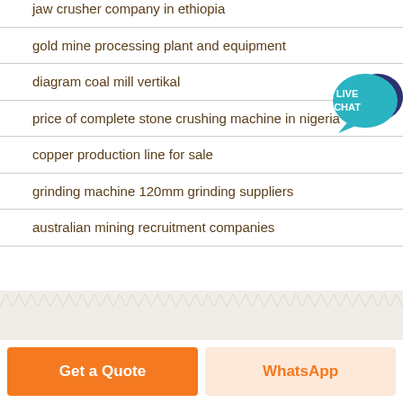jaw crusher company in ethiopia
gold mine processing plant and equipment
diagram coal mill vertikal
price of complete stone crushing machine in nigeria
copper production line for sale
grinding machine 120mm grinding suppliers
australian mining recruitment companies
[Figure (other): Live chat button widget with teal speech bubble and 'LIVE CHAT' text]
[Figure (other): Zigzag decorative footer band in light beige/cream color]
Get a Quote
WhatsApp